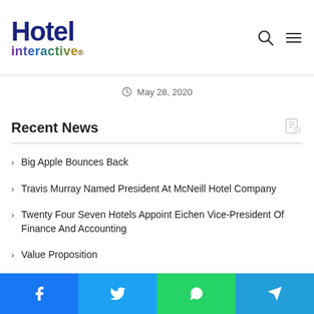Hotel interactive
May 28, 2020
Recent News
Big Apple Bounces Back
Travis Murray Named President At McNeill Hotel Company
Twenty Four Seven Hotels Appoint Eichen Vice-President Of Finance And Accounting
Value Proposition
NewcrestImage Closes On LaQuinta Inn & Suites LAX
Pyramid Global Hospitality Takes Over Management Of 118-Room Holiday Inn Express Blowing Rock South In NC
Facebook | Twitter | WhatsApp | Telegram